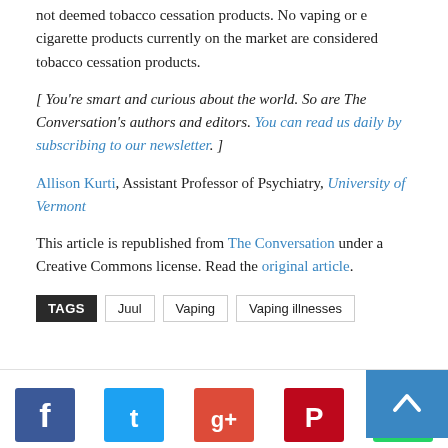not deemed tobacco cessation products. No vaping or e cigarette products currently on the market are considered tobacco cessation products.
[ You're smart and curious about the world. So are The Conversation's authors and editors. You can read us daily by subscribing to our newsletter. ]
Allison Kurti, Assistant Professor of Psychiatry, University of Vermont
This article is republished from The Conversation under a Creative Commons license. Read the original article.
TAGS  Juul  Vaping  Vaping illnesses
[Figure (other): Social sharing icons row: Facebook (blue), Twitter (light blue), Google+ (red), Pinterest (red), WhatsApp (green). Back-to-top button (blue) at bottom right.]